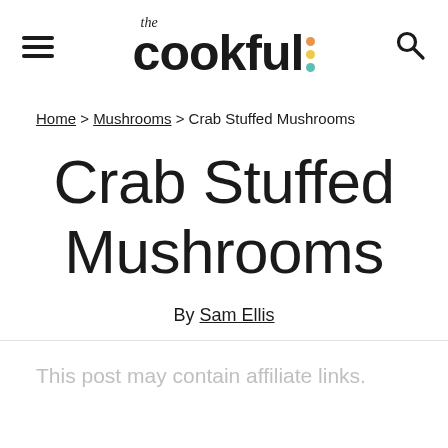the cookful [logo with hamburger menu and search icon]
Home > Mushrooms > Crab Stuffed Mushrooms
Crab Stuffed Mushrooms
By Sam Ellis
This post may contain affiliate links.